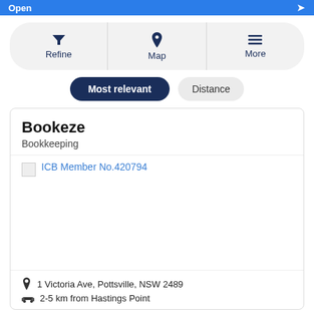Open ▶
[Figure (screenshot): Toolbar with Refine (filter icon), Map (location pin icon), and More (hamburger menu icon) buttons]
Most relevant   Distance
Bookeze
Bookkeeping
ICB Member No.420794
1 Victoria Ave, Pottsville, NSW 2489
2-5 km from Hastings Point